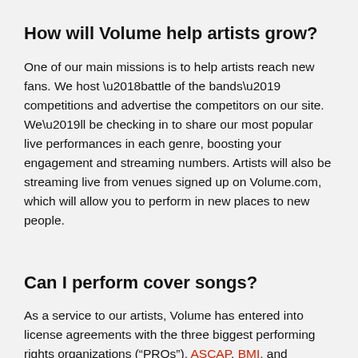How will Volume help artists grow?
One of our main missions is to help artists reach new fans. We host ‘battle of the bands’ competitions and advertise the competitors on our site. We’ll be checking in to share our most popular live performances in each genre, boosting your engagement and streaming numbers. Artists will also be streaming live from venues signed up on Volume.com, which will allow you to perform in new places to new people.
Can I perform cover songs?
As a service to our artists, Volume has entered into license agreements with the three biggest performing rights organizations (“PROs”), ASCAP, BMI, and SESAC. This means